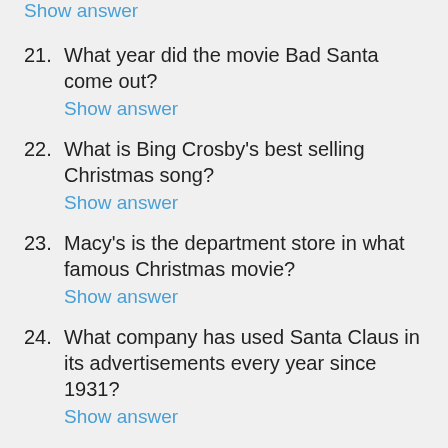Show answer (partial, top of page)
21. What year did the movie Bad Santa come out?
Show answer
22. What is Bing Crosby's best selling Christmas song?
Show answer
23. Macy's is the department store in what famous Christmas movie?
Show answer
24. What company has used Santa Claus in its advertisements every year since 1931?
Show answer